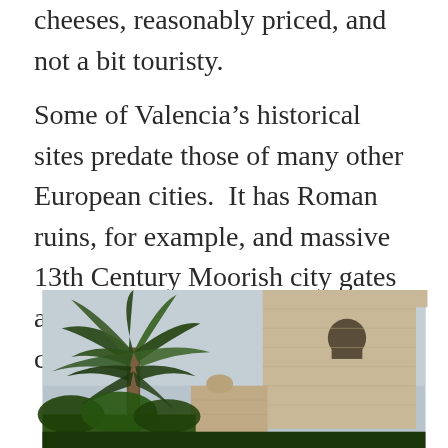cheeses, reasonably priced, and not a bit touristy.
Some of Valencia’s historical sites predate those of many other European cities.  It has Roman ruins, for example, and massive 13th Century Moorish city gates and preserved portions of the old city wall.
[Figure (photo): Photograph taken from a low angle looking up at a large stone tower (Moorish city gate) on the right side, with a tall palm tree on the left side against an overcast sky.]